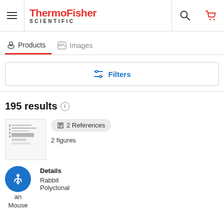[Figure (logo): ThermoFisher Scientific logo with hamburger menu, search icon, and cart icon in header]
Products   Images
[Figure (screenshot): Filters button with sliders icon]
195 results
[Figure (photo): Western blot image thumbnail]
2 References
2 figures
Details
Rabbit
Polyclonal
an
Mouse